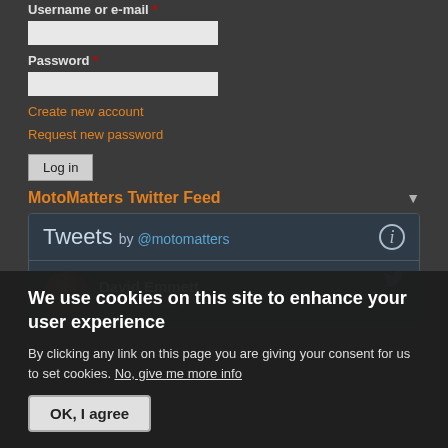Username or e-mail *
Password *
Create new account
Request new password
Log in
MotoMatters Twitter Feed
[Figure (screenshot): Twitter widget showing 'Tweets by @motomatters' header with info icon, and a tweet row showing David Emmett @motomatters with avatar and Twitter bird icon]
We use cookies on this site to enhance your user experience
By clicking any link on this page you are giving your consent for us to set cookies. No, give me more info
OK, I agree